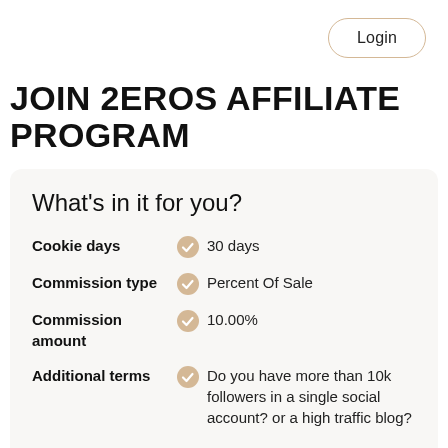Login
JOIN 2EROS AFFILIATE PROGRAM
What's in it for you?
Cookie days — 30 days
Commission type — Percent Of Sale
Commission amount — 10.00%
Additional terms — Do you have more than 10k followers in a single social account? or a high traffic blog?